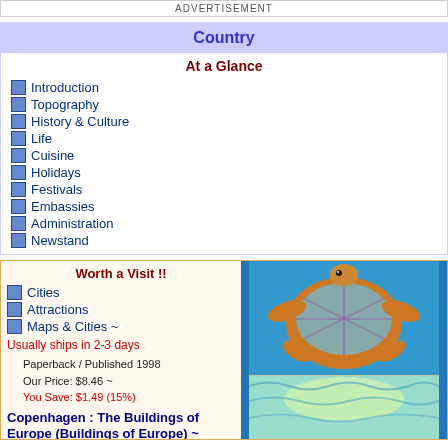ADVERTISEMENT
Country
At a Glance
Introduction
Topography
History & Culture
Life
Cuisine
Holidays
Festivals
Embassies
Administration
Newstand
Worth a Visit !!
Cities
Attractions
Maps & Cities ~
Usually ships in 2-3 days
Paperback / Published 1998
Our Price: $8.46 ~
You Save: $1.49 (15%)
Copenhagen : The Buildings of Europe (Buildings of Europe) ~
Usually ships in 24 h...
[Figure (illustration): Illustrated turtle swimming in blue water, viewed from above showing shell detail. Below it is a lighter blue-green wavy water scene.]